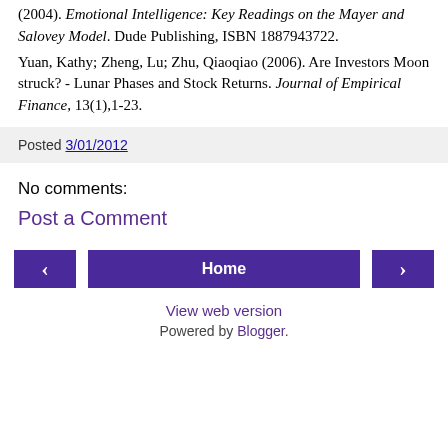(2004). Emotional Intelligence: Key Readings on the Mayer and Salovey Model. Dude Publishing, ISBN 1887943722.
Yuan, Kathy; Zheng, Lu; Zhu, Qiaoqiao (2006). Are Investors Moon struck? - Lunar Phases and Stock Returns. Journal of Empirical Finance, 13(1),1-23.
Posted 3/01/2012
No comments:
Post a Comment
Home
View web version
Powered by Blogger.